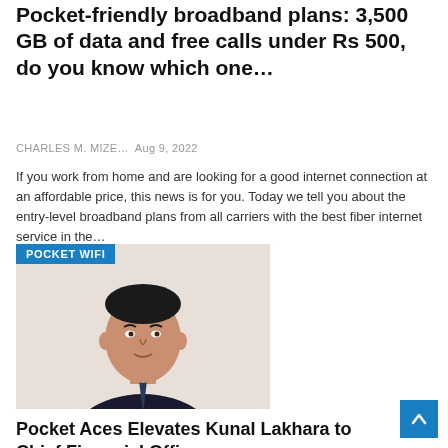Pocket-friendly broadband plans: 3,500 GB of data and free calls under Rs 500, do you know which one…
CHARLES M. MIZE…   Aug 9, 2022
If you work from home and are looking for a good internet connection at an affordable price, this news is for you. Today we tell you about the entry-level broadband plans from all carriers with the best fiber internet service in the…
[Figure (photo): Portrait photo of a man in a dark suit with a POCKET WIFI badge overlay in the top-left corner]
Pocket Aces Elevates Kunal Lakhara to Chief Financial Officer
CHARLES M. MIZE…   Aug 9, 2022
Pocket Aces has elevated Kunal Lakhara to a new role as CFO.